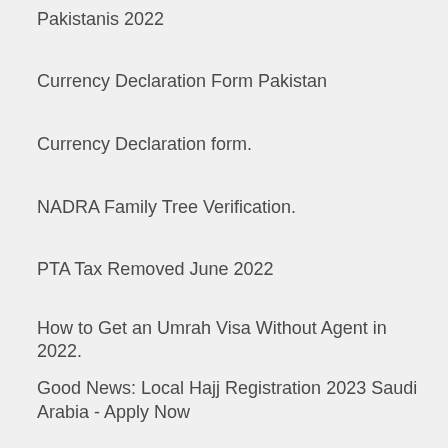Pakistanis 2022
Currency Declaration Form Pakistan
Currency Declaration form.
NADRA Family Tree Verification.
PTA Tax Removed June 2022
How to Get an Umrah Visa Without Agent in 2022.
Good News: Local Hajj Registration 2023 Saudi Arabia - Apply Now
Gamca Medical Status Online Check